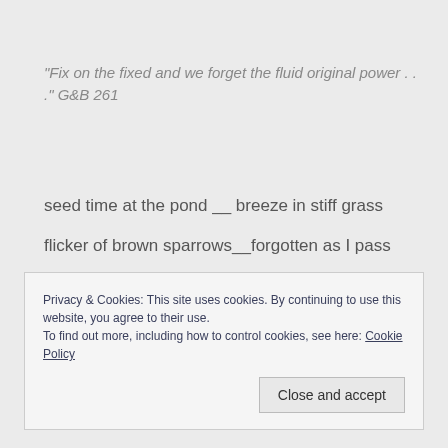"Fix on the fixed and we forget the fluid original power . . ." G&B 261
seed time at the pond __ breeze in stiff grass
flicker of brown sparrows__forgotten as I pass
Privacy & Cookies: This site uses cookies. By continuing to use this website, you agree to their use.
To find out more, including how to control cookies, see here: Cookie Policy